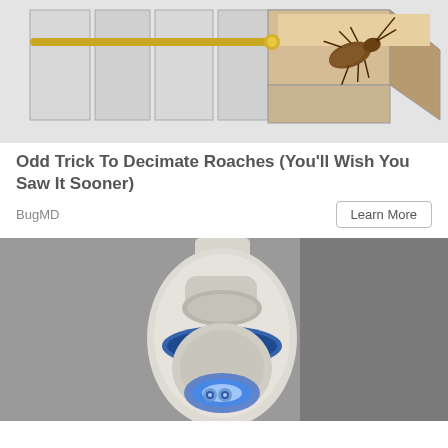[Figure (illustration): Illustration of kitchen cabinet drawer being opened with a cockroach visible on the side of the drawer]
Odd Trick To Decimate Roaches (You'll Wish You Saw It Sooner)
BugMD
Learn More
[Figure (photo): Close-up photo of a white PTZ security camera with blue LED light, mounted on ceiling or wall]